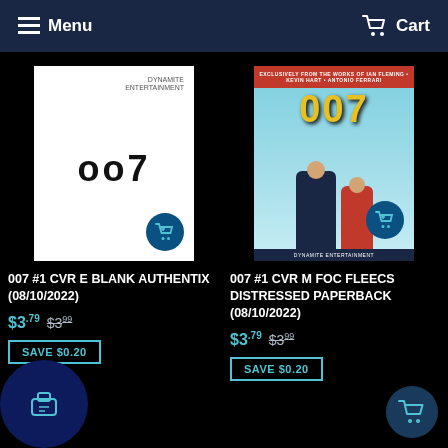Menu  Cart
[Figure (illustration): 007 #1 CVR E Blank Authentix comic book cover — white background with '007' text in black]
007 #1 CVR E BLANK AUTHENTIX (08/10/2022)
$3.79  $3.99
SAVE $0.20
[Figure (illustration): 007 #1 CVR M FOC FLEECS DISTRESSED PAPERBACK comic book cover — colorful vintage James Bond style artwork with teal background, 007 logo and action figures]
007 #1 CVR M FOC FLEECS DISTRESSED PAPERBACK (08/10/2022)
$3.79  $3.99
SAVE $0.20